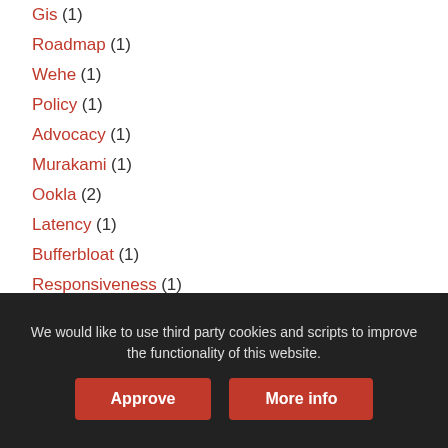Gis (1)
Roadmap (1)
Wehe (1)
Policy (1)
Advocacy (1)
Murakami (1)
Ookla (2)
Latency (1)
Bufferbloat (1)
Responsiveness (1)
Governance (1)
Experiment Review Committee (1)
Fellowship (4)
Announcement (3)
We would like to use third party cookies and scripts to improve the functionality of this website.